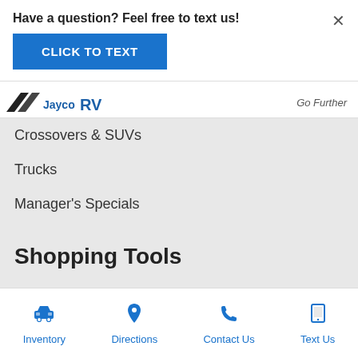Have a question? Feel free to text us!
CLICK TO TEXT
[Figure (logo): Jayco RV logo with diagonal stripes and 'Go Further' tagline]
Crossovers & SUVs
Trucks
Manager's Specials
Shopping Tools
Value Your Trade
Read Reviews
Get Approved
Inventory  Directions  Contact Us  Text Us